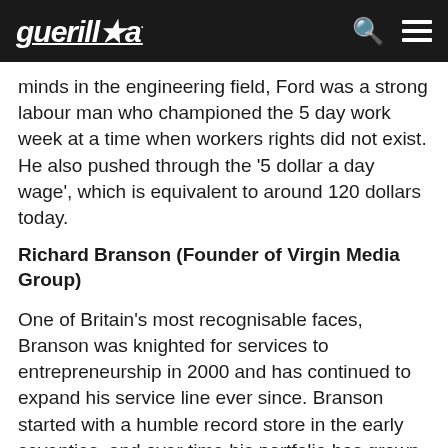guerilla
minds in the engineering field, Ford was a strong labour man who championed the 5 day work week at a time when workers rights did not exist. He also pushed through the '5 dollar a day wage', which is equivalent to around 120 dollars today.
Richard Branson (Founder of Virgin Media Group)
One of Britain's most recognisable faces, Branson was knighted for services to entrepreneurship in 2000 and has continued to expand his service line ever since. Branson started with a humble record store in the early seventies, and over time his portfolio has grown to cover air travel, telecommunications, digital TV, health clubs and gyms as well as holidays. With Virgin Galactic set to launch in 2018, Branson's vision shows no signs of slowing down and you can fully expect to be booking trips to Mars via Virgin in the year 2030!